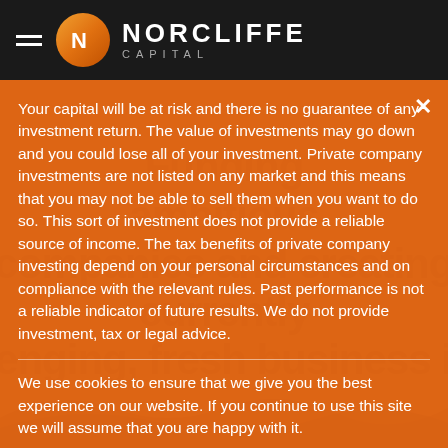NORCLIFFE CAPITAL
Your capital will be at risk and there is no guarantee of any investment return. The value of investments may go down and you could lose all of your investment. Private company investments are not listed on any market and this means that you may not be able to sell them when you want to do so. This sort of investment does not provide a reliable source of income. The tax benefits of private company investing depend on your personal circumstances and on compliance with the relevant rules. Past performance is not a reliable indicator of future results. We do not provide investment, tax or legal advice.
We use cookies to ensure that we give you the best experience on our website. If you continue to use this site we will assume that you are happy with it.